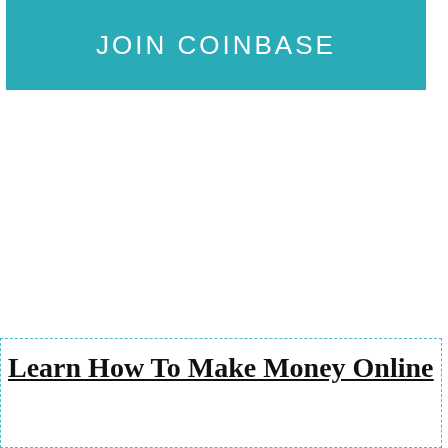[Figure (other): Teal/turquoise button with text JOIN COINBASE in white capital letters]
Learn How To Make Money Online